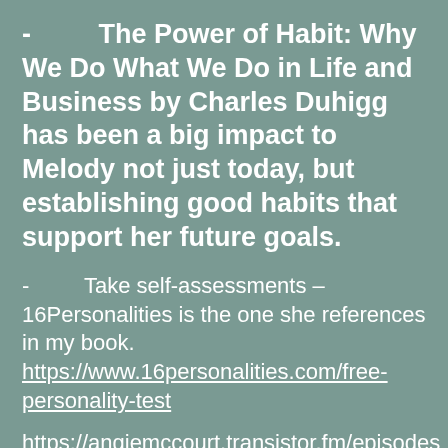- The Power of Habit: Why We Do What We Do in Life and Business by Charles Duhigg has been a big impact to Melody not just today, but establishing good habits that support her future goals.
- Take self-assessments – 16Personalities is the one she references in my book.
https://www.16personalities.com/free-personality-test

https://angiemccourt.transistor.fm/episodes